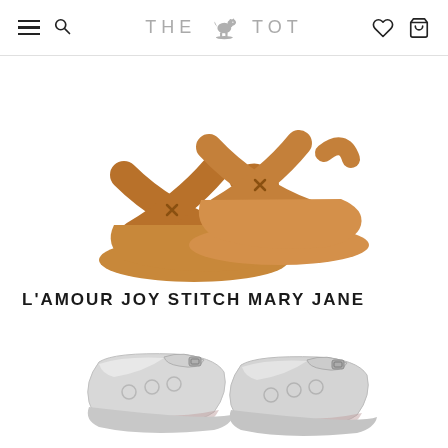THE TOT
[Figure (photo): Pair of tan/caramel leather cross-strap children's sandals with rubber soles, shown from a slightly elevated angle on white background.]
L'AMOUR JOY STITCH MARY JANE
[Figure (photo): Pair of silver metallic children's Mary Jane shoes with decorative cutouts and buckle straps, shown from a slightly elevated angle on white background, partially cropped at bottom.]